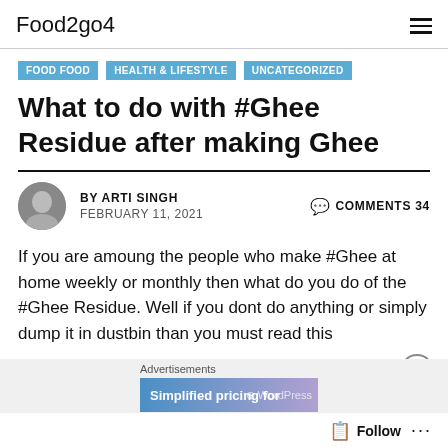Food2go4
FOOD FOOD
HEALTH & LIFESTYLE
UNCATEGORIZED
What to do with #Ghee Residue after making Ghee
BY ARTI SINGH   COMMENTS 34
FEBRUARY 11, 2021
If you are amoung the people who make #Ghee at home weekly or monthly then what do you do of the #Ghee Residue. Well if you dont do anything or simply dump it in dustbin than you must read this
Advertisements
Simplified pricing for